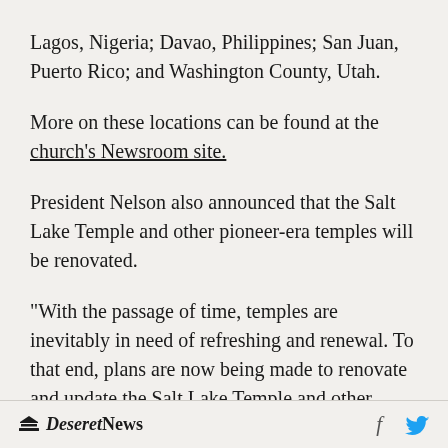Lagos, Nigeria; Davao, Philippines; San Juan, Puerto Rico; and Washington County, Utah.
More on these locations can be found at the church's Newsroom site.
President Nelson also announced that the Salt Lake Temple and other pioneer-era temples will be renovated.
"With the passage of time, temples are inevitably in need of refreshing and renewal. To that end, plans are now being made to renovate and update the Salt Lake Temple and other pioneer
Deseret News  f  [Twitter]